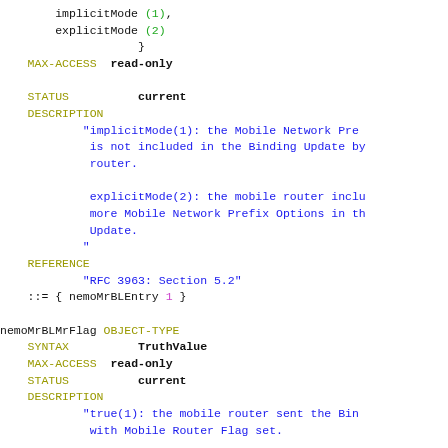MIB/SNMP ASN.1 code fragment showing nemoMrBLMrFlag OBJECT-TYPE definition with implicitMode, explicitMode, MAX-ACCESS read-only, STATUS current, DESCRIPTION, REFERENCE RFC 3963 Section 5.2, and nemoMrBLEntry assignment.